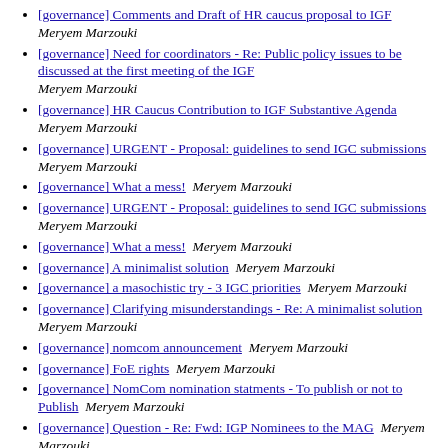[governance] Comments and Draft of HR caucus proposal to IGF  Meryem Marzouki
[governance] Need for coordinators - Re: Public policy issues to be discussed at the first meeting of the IGF  Meryem Marzouki
[governance] HR Caucus Contribution to IGF Substantive Agenda  Meryem Marzouki
[governance] URGENT - Proposal: guidelines to send IGC submissions  Meryem Marzouki
[governance] What a mess!  Meryem Marzouki
[governance] URGENT - Proposal: guidelines to send IGC submissions  Meryem Marzouki
[governance] What a mess!  Meryem Marzouki
[governance] A minimalist solution  Meryem Marzouki
[governance] a masochistic try - 3 IGC priorities  Meryem Marzouki
[governance] Clarifying misunderstandings - Re: A minimalist solution  Meryem Marzouki
[governance] nomcom announcement  Meryem Marzouki
[governance] FoE rights  Meryem Marzouki
[governance] NomCom nomination statments - To publish or not to Publish  Meryem Marzouki
[governance] Question - Re: Fwd: IGP Nominees to the MAG  Meryem Marzouki
[governance] Fwd: HR Caucus nominations for the MAG through IGC  Meryem Marzouki